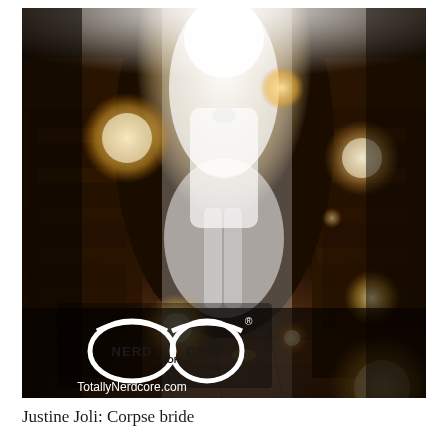[Figure (photo): A ghostly, ethereal figure dressed in white bridal attire stands in a church aisle, heavily backlit creating a glowing, overexposed effect. Church pews are visible on both sides. Warm bokeh light orbs float throughout the image. In the lower left corner, the 'Nerd Gor Core' logo with a stylized glasses design and text 'TotallyNerdcore.com' is overlaid on the photo.]
Justine Joli: Corpse bride